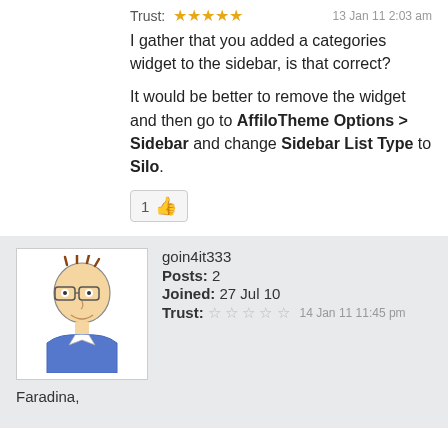Trust: ★★★★★   13 Jan 11 2:03 am
I gather that you added a categories widget to the sidebar, is that correct?

It would be better to remove the widget and then go to AffiloTheme Options > Sidebar and change Sidebar List Type to Silo.
[Figure (other): Like button with thumbs up emoji showing count 1]
[Figure (illustration): Cartoon avatar of a person with glasses and blue shirt]
goin4it333
Posts: 2
Joined: 27 Jul 10
Trust: ☆☆☆☆☆   14 Jan 11 11:45 pm
Faradina,